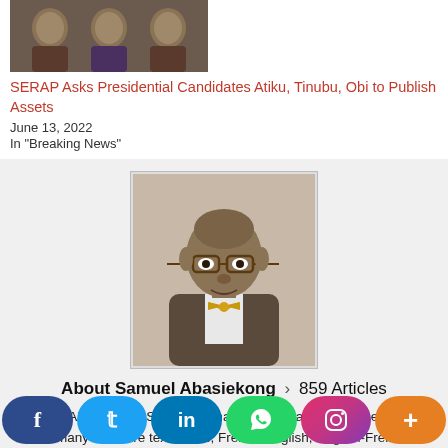[Figure (photo): Thumbnail photo of three people cropped at the top of the page]
SERAP Asks Presidential Candidates Atiku, Tinubu, Obi to Publish Assets
June 13, 2022
In "Breaking News"
[Figure (photo): Portrait photo of Samuel Abasiekong, a man wearing glasses and a yellow bow tie, in a dark suit]
About Samuel Abasiekong > 859 Articles
Samuel Abasiekong, Senior Journalist, Newspaper Publisher, Author of many literature text books, French-English, English-French languages Translator and Interpreter, Multi-sectoral Counsellor & Consultant